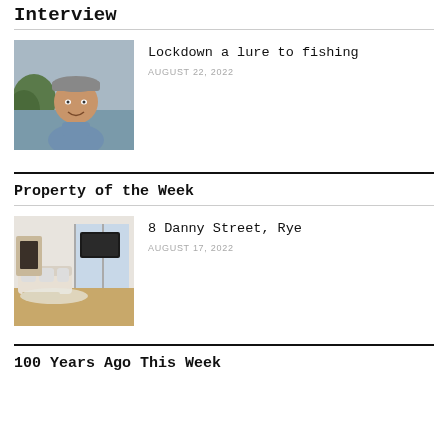Interview
[Figure (photo): Portrait photo of a man wearing a cap and blue shirt, outdoors near water]
Lockdown a lure to fishing
AUGUST 22, 2022
Property of the Week
[Figure (photo): Interior photo of a bright modern living room with white furniture and fireplace]
8 Danny Street, Rye
AUGUST 17, 2022
100 Years Ago This Week